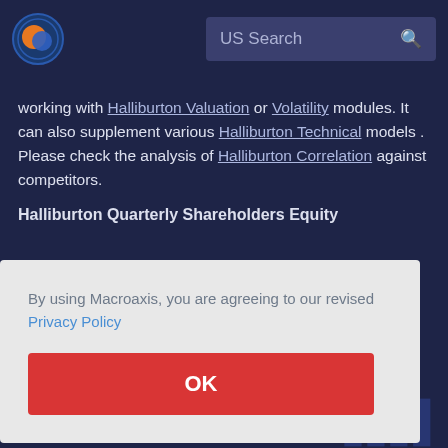US Search
working with Halliburton Valuation or Volatility modules. It can also supplement various Halliburton Technical models . Please check the analysis of Halliburton Correlation against competitors.
Halliburton Quarterly Shareholders Equity
By using Macroaxis, you are agreeing to our revised Privacy Policy
OK